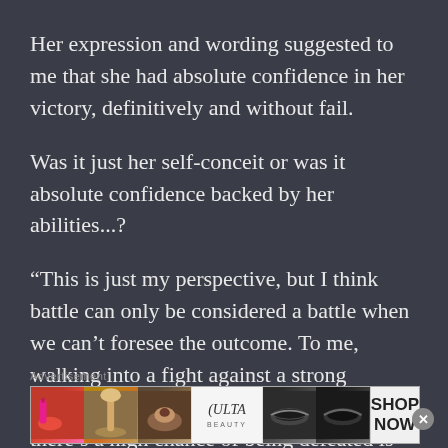Her expression and wording suggested to me that she had absolute confidence in her victory, definitively and without fail.
Was it just her self-conceit or was it absolute confidence backed by her abilities...?
“This is just my perspective, but I think battle can only be considered a battle when we can’t foresee the outcome. To me, walking into a fight against a strong opponent where it makes me feel that there’s a high chance of being defeated is what’s considered a battle... and aside from you, there’s no
[Figure (other): Advertisement banner for ULTA Beauty showing cosmetic product images (lipstick, makeup brush, eye makeup, ULTA logo, eye shadow), with SHOP NOW call to action button]